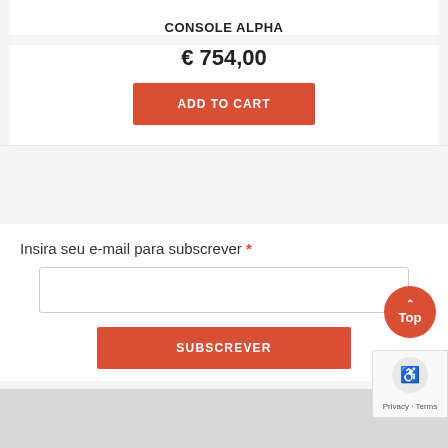CONSOLE ALPHA
€ 754,00
ADD TO CART
Insira seu e-mail para subscrever *
SUBSCREVER
Top
Privacy · Terms